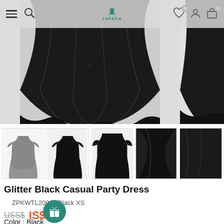ZAPAKA navigation bar with hamburger menu, search, logo, wishlist (0), account, cart (0)
[Figure (photo): Main product photo: bottom portion of a black glitter flared skirt/dress on white background, showing voluminous pleated skirt hem]
[Figure (photo): Partial right-side product image of black dress]
[Figure (photo): Thumbnail strip: 1) grey dress full view, 2) black dress full view, 3) black dress upper body close-up, 4) black fabric drape close-up, 5) black skirt partial]
Glitter Black Casual Party Dress
ZPKWTL20005 Black XS
US IS$35
Color : Black